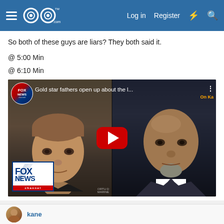GoG.com — Log in | Register
So both of these guys are liars? They both said it.
@ 5:00 Min
@ 6:10 Min
[Figure (screenshot): YouTube video thumbnail showing Fox News segment titled 'Gold star fathers open up about the l...' with two men shown side by side, a YouTube play button in the center, and Fox News channel logos visible.]
kane